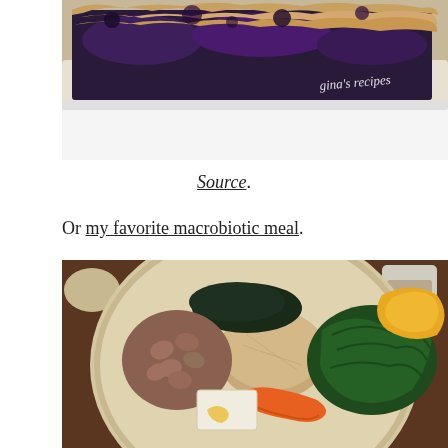[Figure (photo): Close-up photo of a blueberry crumble or pie slice on a white plate, with 'gina's recipes' watermark in cursive in the top right corner]
Source.
Or my favorite macrobiotic meal.
[Figure (photo): Photo of a macrobiotic meal on a round plate showing beans, brown rice, kale, tofu, carrots, seaweed, and orange squash, with a small cup of sauce on the side]